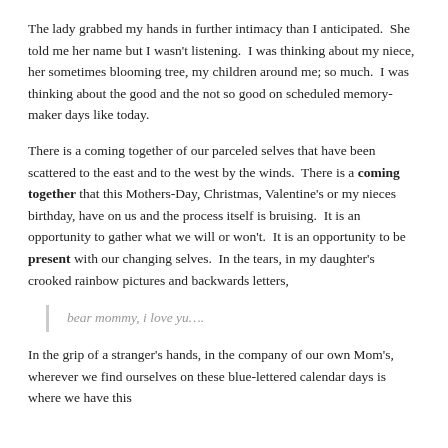The lady grabbed my hands in further intimacy than I anticipated.  She told me her name but I wasn't listening.  I was thinking about my niece, her sometimes blooming tree, my children around me; so much.  I was thinking about the good and the not so good on scheduled memory-maker days like today.
There is a coming together of our parceled selves that have been scattered to the east and to the west by the winds.  There is a coming together that this Mothers-Day, Christmas, Valentine's or my nieces birthday, have on us and the process itself is bruising.  It is an opportunity to gather what we will or won't.  It is an opportunity to be present with our changing selves.  In the tears, in my daughter's crooked rainbow pictures and backwards letters,
bear mommy, i love yu….
In the grip of a stranger's hands, in the company of our own Mom's, wherever we find ourselves on these blue-lettered calendar days is where we have this